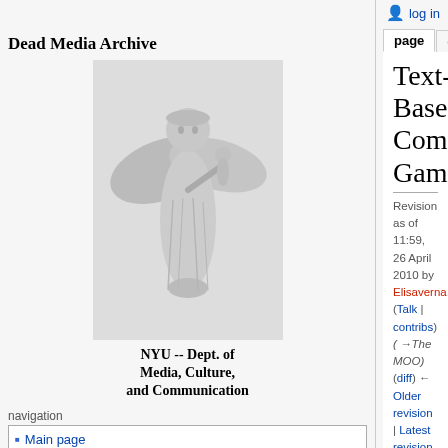Dead Media Archive
log in
page | discussion | view source | history
[Figure (illustration): Angel/classical figure illustration for Dead Media Archive wiki logo]
NYU -- Dept. of Media, Culture, and Communication
navigation
Main page
Recent changes
search
Text-Based Computer Games
Revision as of 11:59, 26 April 2010 by Elisaverna (Talk | contribs) (→The MOO) (diff) ← Older revision | Latest revision (diff) | Newer revision → (diff)
Error creating thumbnail: Unable to save thumbnail to destination
The opening sequence of Zork I, created in 1979 by Infocom.
Text-Based Computer Games are a mode of gaming, popular during the 1980s, that require players to read lines of text on their computer screen which describe a virtual world and prompts players to interact within and navigate that world by typing textual commands using a keyboard. The games did not contain graphics (pixel-based images such as bitmaps or raster graphics), and required heavy participating
tools